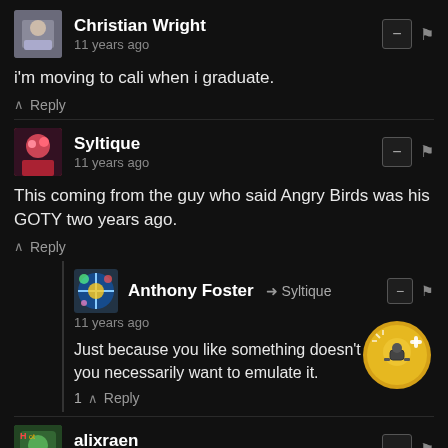Christian Wright
11 years ago
i'm moving to cali when i graduate.
↑ Reply
Syltique
11 years ago
This coming from the guy who said Angry Birds was his GOTY two years ago.
↑ Reply
Anthony Foster → Syltique
11 years ago
Just because you like something doesn't mean you necessarily want to emulate it.
1 ↑ Reply
alixraen
11 years ago
Right on, Jaffe.